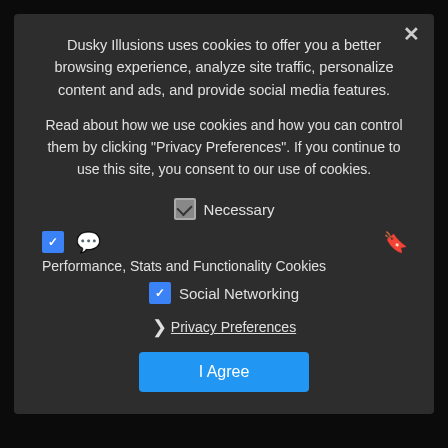[Figure (screenshot): Dark-themed website background showing partially visible music page with 'MUSIC', 'Shark W...' heading, date, DISSCUSSION section, comment with avatar, and partial comment text about soy allergy]
Dusky Illusions uses cookies to offer you a better browsing experience, analyze site traffic, personalize content and ads, and provide social media features.
Read about how we use cookies and how you can control them by clicking "Privacy Preferences". If you continue to use this site, you consent to our use of cookies.
Necessary
Performance, Stats and Functionality Cookies
Social Networking
Privacy Preferences
I Agree